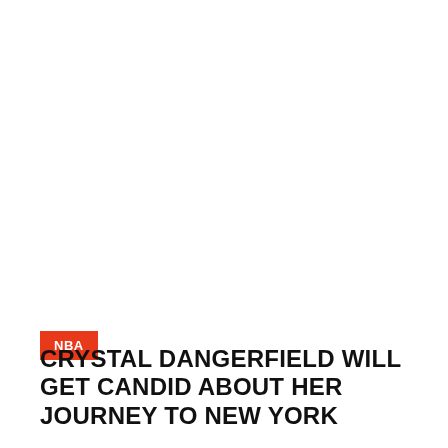NBA
CRYSTAL DANGERFIELD WILL GET CANDID ABOUT HER JOURNEY TO NEW YORK